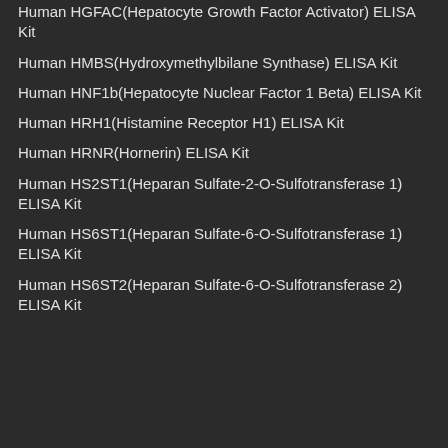Human HGFAC(Hepatocyte Growth Factor Activator) ELISA Kit
Human HMBS(Hydroxymethylbilane Synthase) ELISA Kit
Human HNF1b(Hepatocyte Nuclear Factor 1 Beta) ELISA Kit
Human HRH1(Histamine Receptor H1) ELISA Kit
Human HRNR(Hornerin) ELISA Kit
Human HS2ST1(Heparan Sulfate-2-O-Sulfotransferase 1) ELISA Kit
Human HS6ST1(Heparan Sulfate-6-O-Sulfotransferase 1) ELISA Kit
Human HS6ST2(Heparan Sulfate-6-O-Sulfotransferase 2) ELISA Kit